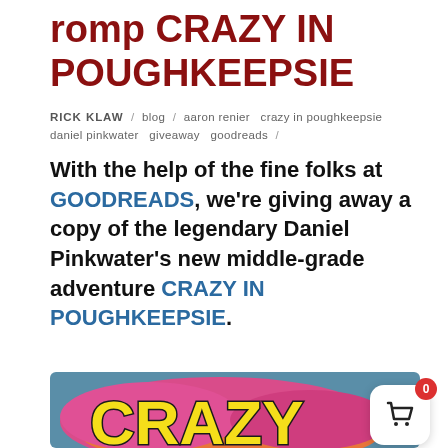romp CRAZY IN POUGHKEEPSIE
RICK KLAW / blog / aaron renier  crazy in poughkeepsie  daniel pinkwater  giveaway  goodreads /
With the help of the fine folks at GOODREADS, we're giving away a copy of the legendary Daniel Pinkwater's new middle-grade adventure CRAZY IN POUGHKEEPSIE.
[Figure (illustration): Book cover showing colorful comic-style lettering spelling CRAZY with yellow block letters on a pink/orange background with teal sky, partially visible]